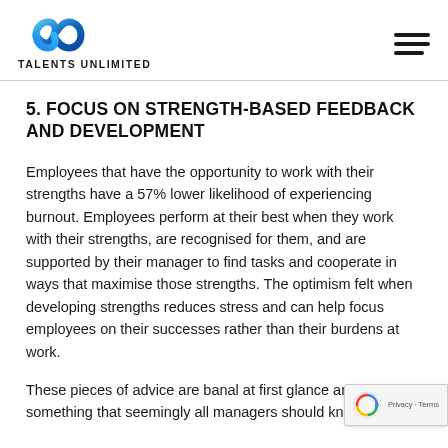[Figure (logo): Talents Unlimited logo with blue infinity symbol and bold uppercase text]
5. FOCUS ON STRENGTH-BASED FEEDBACK AND DEVELOPMENT
Employees that have the opportunity to work with their strengths have a 57% lower likelihood of experiencing burnout. Employees perform at their best when they work with their strengths, are recognised for them, and are supported by their manager to find tasks and cooperate in ways that maximise those strengths. The optimism felt when developing strengths reduces stress and can help focus employees on their successes rather than their burdens at work.
These pieces of advice are banal at first glance and something that seemingly all managers should kno...